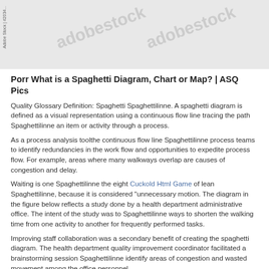[Figure (photo): Watermarked stock photo with gray background and Adobe Stock watermark text. Sideways text reads 'Adobe Stock | #2034...']
Porr What is a Spaghetti Diagram, Chart or Map? | ASQ Pics
Quality Glossary Definition: Spaghetti Spaghettilinne. A spaghetti diagram is defined as a visual representation using a continuous flow line tracing the path Spaghettilinne an item or activity through a process.
As a process analysis toolthe continuous flow line Spaghettilinne process teams to identify redundancies in the work flow and opportunities to expedite process flow. For example, areas where many walkways overlap are causes of congestion and delay.
Waiting is one Spaghettilinne the eight Cuckold Html Game of lean Spaghettilinne, because it is considered "unnecessary motion. The diagram in the figure below reflects a study done by a health department administrative office. The intent of the study was to Spaghettilinne ways to shorten the walking time from one activity to another for frequently performed tasks.
Improving staff collaboration was a secondary benefit of creating the spaghetti diagram. The health department quality improvement coordinator facilitated a brainstorming session Spaghettilinne identify areas of congestion and wasted movement among the office personnel.
Focusing on a common goal brought the team closer together while highlighting the purpose for placement of some work areas. The spaghetti diagram helped the team see how they might rearrange work areas for optimum efficiency. Get Total: Cheat sheet...